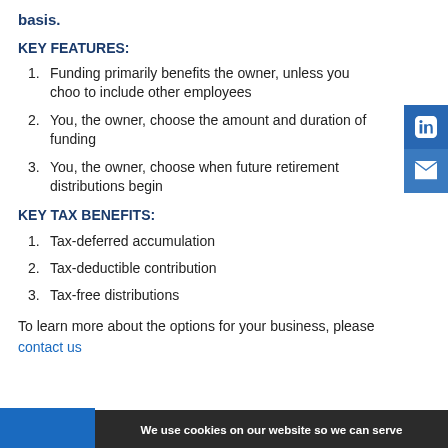basis.
KEY FEATURES:
Funding primarily benefits the owner, unless you choose to include other employees
You, the owner, choose the amount and duration of funding
You, the owner, choose when future retirement distributions begin
KEY TAX BENEFITS:
Tax-deferred accumulation
Tax-deductible contribution
Tax-free distributions
To learn more about the options for your business, please contact us
We use cookies on our website so we can serve